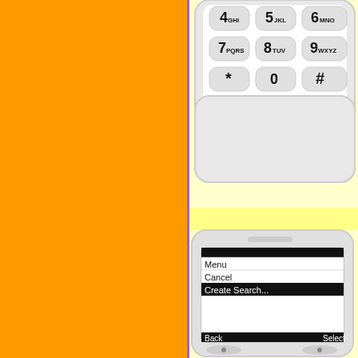[Figure (screenshot): Orange background on left half, with a purple vertical stripe divider. On the right: yellow background with two mobile phone UI screenshots. Top screenshot shows bottom portion of a phone keypad (buttons 4 GHI, 5 JKL, 6 MNO, 7 PQRS, 8 TUV, 9 WXYZ, *, 0, #). Bottom screenshot shows a phone menu screen with options: Menu, Cancel, Create Search..., and navigation buttons Back and Select.]